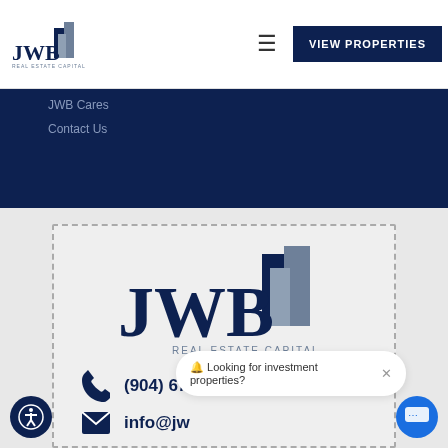[Figure (logo): JWB Real Estate Capital logo small in navigation bar]
☰
VIEW PROPERTIES
JWB Cares
Contact Us
[Figure (logo): JWB Real Estate Capital large logo with building graphic]
(904) 677-6777
info@jw...
🔔 Looking for investment properties?  ×